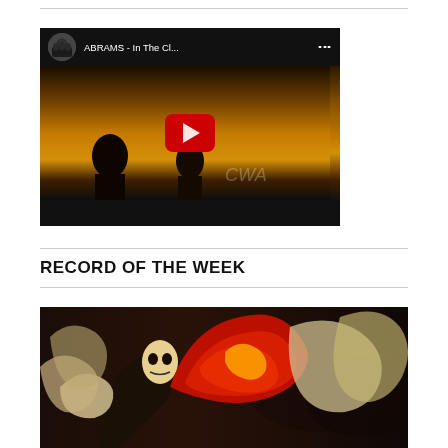[Figure (screenshot): YouTube video thumbnail for ABRAMS - In The Cl... with play button and dark/orange background with silhouette]
RECORD OF THE WEEK
[Figure (illustration): Album artwork showing a figure with flames in red and yellow tones against a dark background]